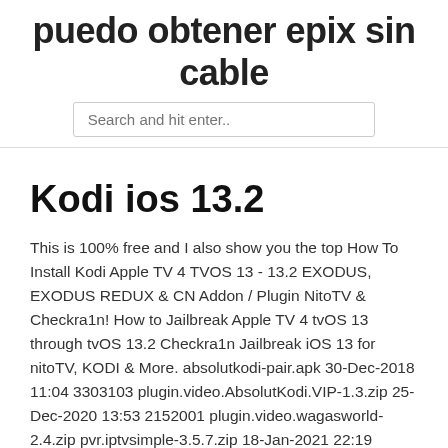puedo obtener epix sin cable
Search and hit enter..
Kodi ios 13.2
This is 100% free and I also show you the top How To Install Kodi Apple TV 4 TVOS 13 - 13.2 EXODUS, EXODUS REDUX & CN Addon / Plugin NitoTV & Checkra1n! How to Jailbreak Apple TV 4 tvOS 13 through tvOS 13.2 Checkra1n Jailbreak iOS 13 for nitoTV, KODI & More. absolutkodi-pair.apk 30-Dec-2018 11:04 3303103 plugin.video.AbsolutKodi.VIP-1.3.zip 25-Dec-2020 13:53 2152001 plugin.video.wagasworld-2.4.zip pvr.iptvsimple-3.5.7.zip 18-Jan-2021 22:19 220197 repository.Absolut.Kodi-1.0.5.zip 07-Jul-2020 19:33 6200674 Free. Size: 58 MB. Android. Kodi™ media center, formerly known as XBMC™ Media Center, is an award-winning free and open source cross-platform software media player and